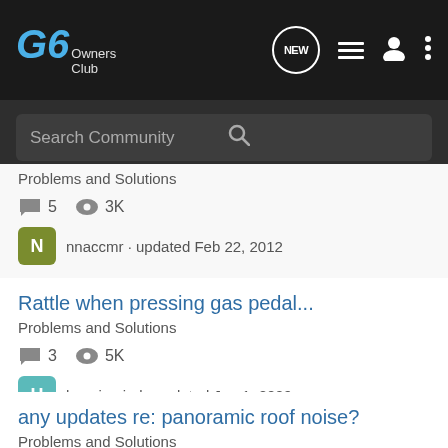G6 Owners Club — navigation header with search bar
Problems and Solutions
5 replies · 3K views · nnaccmr · updated Feb 22, 2012
Rattle when pressing gas pedal...
Problems and Solutions
3 replies · 5K views · haveinmind · updated Jun 1, 2009
any updates re: panoramic roof noise?
Problems and Solutions